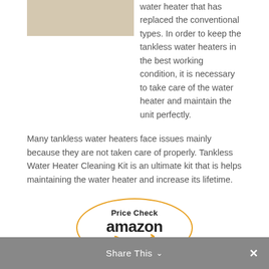[Figure (photo): Product image of a tankless water heater cleaning kit, partially visible at top left]
water heater that has replaced the conventional types. In order to keep the tankless water heaters in the best working condition, it is necessary to take care of the water heater and maintain the unit perfectly.
Many tankless water heaters face issues mainly because they are not taken care of properly. Tankless Water Heater Cleaning Kit is an ultimate kit that is helps maintaining the water heater and increase its lifetime.
[Figure (logo): Amazon Price Check button - oval shaped with orange border containing 'Price Check' text and Amazon logo with smile arrow]
Share This ∨  ✕